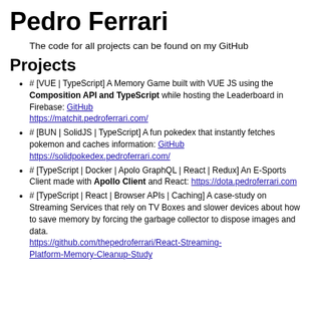Pedro Ferrari
The code for all projects can be found on my GitHub
Projects
# [VUE | TypeScript] A Memory Game built with VUE JS using the Composition API and TypeScript while hosting the Leaderboard in Firebase: GitHub https://matchit.pedroferrari.com/
# [BUN | SolidJS | TypeScript] A fun pokedex that instantly fetches pokemon and caches information: GitHub https://solidpokedex.pedroferrari.com/
# [TypeScript | Docker | Apolo GraphQL | React | Redux] An E-Sports Client made with Apollo Client and React: https://dota.pedroferrari.com
# [TypeScript | React | Browser APIs | Caching] A case-study on Streaming Services that rely on TV Boxes and slower devices about how to save memory by forcing the garbage collector to dispose images and data. https://github.com/thepedroferrari/React-Streaming-Platform-Memory-Cleanup-Study